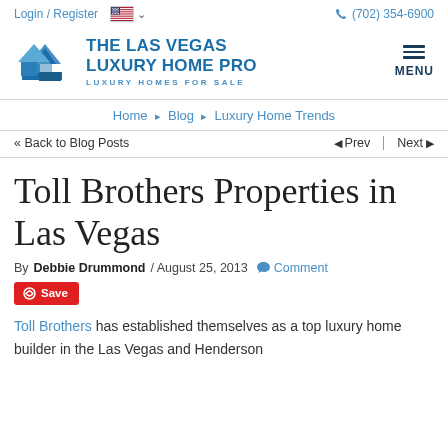Login / Register  (702) 354-6900
[Figure (logo): The Las Vegas Luxury Home Pro logo with blue geometric house icon and text 'THE LAS VEGAS LUXURY HOME PRO' and 'LUXURY HOMES FOR SALE']
Home > Blog > Luxury Home Trends
<< Back to Blog Posts  Prev  Next
Toll Brothers Properties in Las Vegas
By Debbie Drummond / August 25, 2013  Comment
Save
Toll Brothers has established themselves as a top luxury home builder in the Las Vegas and Henderson